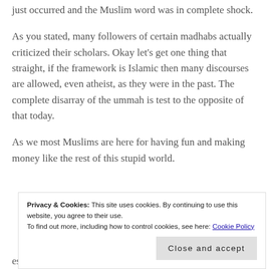just occurred and the Muslim word was in complete shock.
As you stated, many followers of certain madhabs actually criticized their scholars. Okay let’s get one thing that straight, if the framework is Islamic then many discourses are allowed, even atheist, as they were in the past. The complete disarray of the ummah is test to the opposite of that today.
As we most Muslims are here for having fun and making money like the rest of this stupid world.
Privacy & Cookies: This site uses cookies. By continuing to use this website, you agree to their use. To find out more, including how to control cookies, see here: Cookie Policy
escort services, drunken bazaars of Karachi and